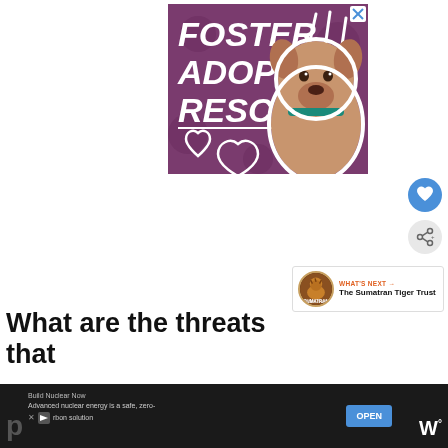[Figure (illustration): Advertisement banner with purple background showing a dog (pit bull mix with green collar) and bold white italic text reading FOSTER ADOPT RESCUE with white heart outlines and decorative slash marks. Close X button in top right corner.]
[Figure (illustration): Blue circular button with white heart icon (like/favorite button)]
[Figure (illustration): Light gray circular button with share/network icon]
WHAT'S NEXT → The Sumatran Tiger Trust
What are the threats that
[Figure (illustration): Bottom black advertisement bar: 'Build Nuclear Now - Advanced nuclear energy is a safe, zero-carbon solution' with OPEN button in blue, partial letter P and W logo on edges, ad badge with X and arrow icon]